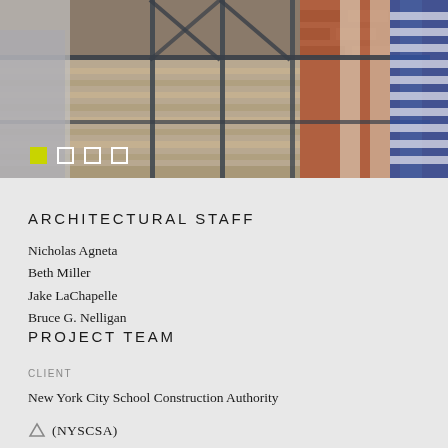[Figure (photo): Scaffolding on a building exterior showing wooden planks, metal railings, brick facade, and a worker in a blue striped shirt visible on the right side. Navigation dots (one yellow filled, three white outlined) appear at bottom left of the image.]
ARCHITECTURAL STAFF
Nicholas Agneta
Beth Miller
Jake LaChapelle
Bruce G. Nelligan
PROJECT TEAM
CLIENT
New York City School Construction Authority
(NYSCSA)